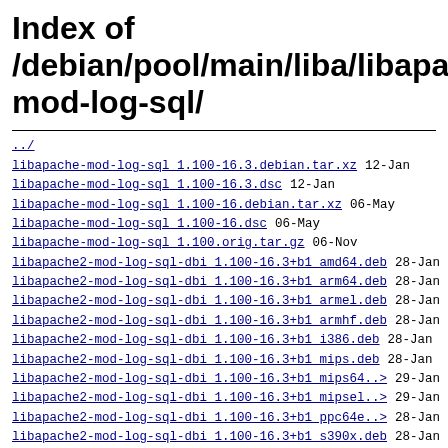Index of /debian/pool/main/liba/libapache-mod-log-sql/
../
libapache-mod-log-sql 1.100-16.3.debian.tar.xz   12-Jan
libapache-mod-log-sql 1.100-16.3.dsc   12-Jan
libapache-mod-log-sql 1.100-16.debian.tar.xz   06-May
libapache-mod-log-sql 1.100-16.dsc   06-May
libapache-mod-log-sql 1.100.orig.tar.gz   06-Nov
libapache2-mod-log-sql-dbi 1.100-16.3+b1 amd64.deb   28-Jan
libapache2-mod-log-sql-dbi 1.100-16.3+b1 arm64.deb   28-Jan
libapache2-mod-log-sql-dbi 1.100-16.3+b1 armel.deb   28-Jan
libapache2-mod-log-sql-dbi 1.100-16.3+b1 armhf.deb   28-Jan
libapache2-mod-log-sql-dbi 1.100-16.3+b1 i386.deb   28-Jan
libapache2-mod-log-sql-dbi 1.100-16.3+b1 mips.deb   28-Jan
libapache2-mod-log-sql-dbi 1.100-16.3+b1 mips64..>   29-Jan
libapache2-mod-log-sql-dbi 1.100-16.3+b1 mipsel..>   29-Jan
libapache2-mod-log-sql-dbi 1.100-16.3+b1 ppc64e..>   28-Jan
libapache2-mod-log-sql-dbi 1.100-16.3+b1 s390x.deb   28-Jan
libapache2-mod-log-sql-dbi 1.100-16.3 amd64.deb   14-Jan
libapache2-mod-log-sql-dbi 1.100-16.3 arm64.deb   14-Jan
libapache2-mod-log-sql-dbi 1.100-16.3 armel.deb   14-Jan
libapache2-mod-log-sql-dbi 1.100-16.3 armhf.deb   14-Jan